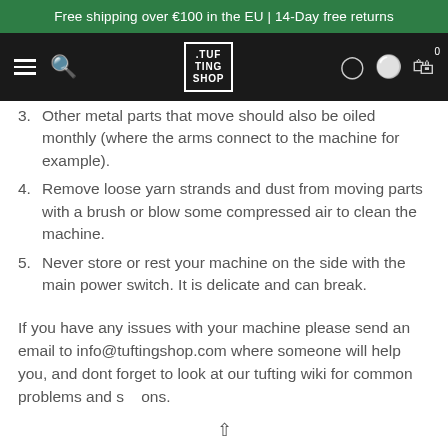Free shipping over €100 in the EU | 14-Day free returns
[Figure (screenshot): Navigation bar with hamburger menu, search icon, .TUF TING SHOP logo, user icon, globe icon, and cart icon with badge 0]
3. Other metal parts that move should also be oiled monthly (where the arms connect to the machine for example).
4. Remove loose yarn strands and dust from moving parts with a brush or blow some compressed air to clean the machine.
5. Never store or rest your machine on the side with the main power switch. It is delicate and can break.
If you have any issues with your machine please send an email to info@tuftingshop.com where someone will help you, and dont forget to look at our tufting wiki for common problems and solutions.